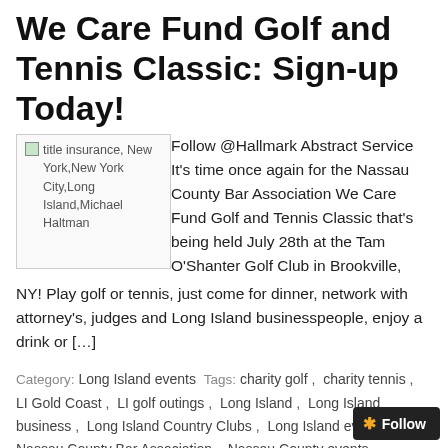We Care Fund Golf and Tennis Classic: Sign-up Today!
[Figure (photo): Image placeholder for title insurance, New York, New York City, Long Island, Michael Haltman]
Follow @Hallmark Abstract Service It’s time once again for the Nassau County Bar Association We Care Fund Golf and Tennis Classic that’s being held July 28th at the Tam O’Shanter Golf Club in Brookville, NY! Play golf or tennis, just come for dinner, network with attorney’s, judges and Long Island businesspeople, enjoy a drink or […]
Category: Long Island events  Tags: charity golf, charity tennis, LI Gold Coast, LI golf outings, Long Island, Long Island business, Long Island Country Clubs, Long Island events, Nassau County Bar Association, Nassau County events, Stephen W. Schlissel, Tam O’Shanter Country Club, The Mill River Club, We Care Fund